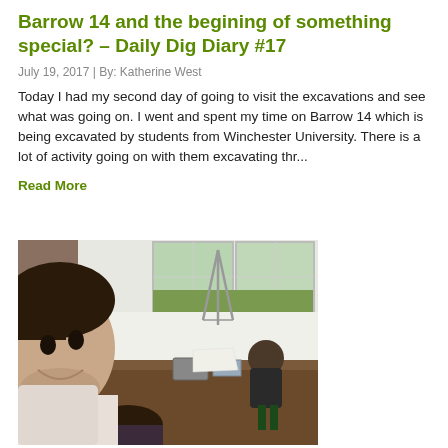Barrow 14 and the begining of something special? – Daily Dig Diary #17
July 19, 2017 | By: Katherine West
Today I had my second day of going to visit the excavations and see what was going on. I went and spent my time on Barrow 14 which is being excavated by students from Winchester University. There is a lot of activity going on with them excavating thr...
Read More
[Figure (photo): Photograph of an archaeological excavation site inside a tent. A young man with dark hair appears in a selfie in the foreground left. In the background, excavators work in a trench on a dirt floor with equipment cases and papers scattered around. A tripod and white tent walls/windows are visible.]